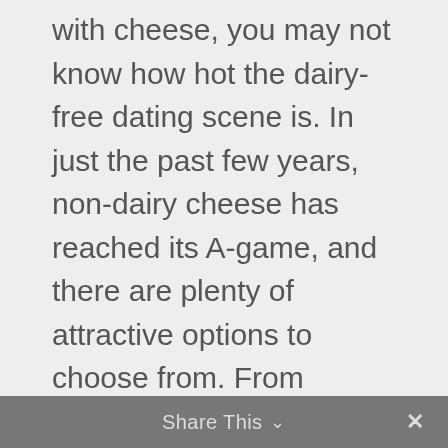with cheese, you may not know how hot the dairy-free dating scene is. In just the past few years, non-dairy cheese has reached its A-game, and there are plenty of attractive options to choose from. From gourmet gouda to melt-your-heart cheddar, these awesome dairy-free cheeses aren't just a rebound, they're in it for the long haul. Break up with cheese and find your new match.
Share This ∨  ✕